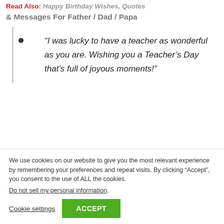Read Also: Happy Birthday Wishes, Quotes & Messages For Father / Dad / Papa
“I was lucky to have a teacher as wonderful as you are. Wishing you a Teacher’s Day that’s full of joyous moments!”
We use cookies on our website to give you the most relevant experience by remembering your preferences and repeat visits. By clicking “Accept”, you consent to the use of ALL the cookies.
Do not sell my personal information.
Cookie settings  ACCEPT